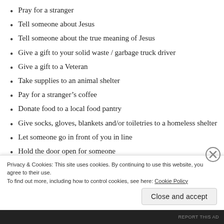Pray for a stranger
Tell someone about Jesus
Tell someone about the true meaning of Jesus
Give a gift to your solid waste / garbage truck driver
Give a gift to a Veteran
Take supplies to an animal shelter
Pay for a stranger’s coffee
Donate food to a local food pantry
Give socks, gloves, blankets and/or toiletries to a homeless shelter
Let someone go in front of you in line
Hold the door open for someone
Privacy & Cookies: This site uses cookies. By continuing to use this website, you agree to their use. To find out more, including how to control cookies, see here: Cookie Policy
Close and accept